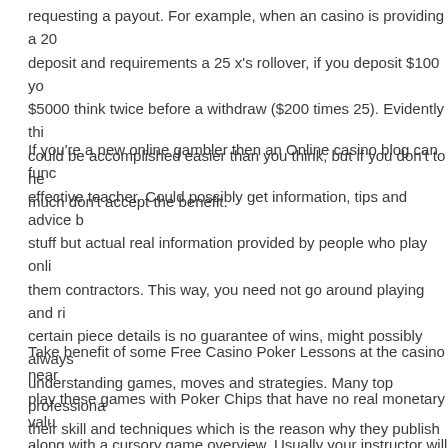requesting a payout. For example, when an casino is providing a 200% deposit and requirements a 25 x's rollover, if you deposit $100 yo $5000 think twice before a withdraw ($200 times 25). Evidently thi could be accomplished easier than you think, but if you don't to he much don't accept the benefit.
If you're a new online gambler then an Online casino blog can func effective teacher. Could possibly get information, tips and advice b stuff but actual real information provided by people who play onli them contractors. This way, you need not go around playing and ri certain piece details is no guarantee of wins, might possibly always understanding games, moves and strategies. Many top professiona their skill and techniques which is the reason why they publish the free. It boosts their ego and also can take advantage of this by pick games happen to be most all for.
Take benefit of some Free Casino Poker Lessons at the casino near play these games with Poker Chips that have no real monetary valu along with a cursory game overview. Usually your instructor will m you are making. This will help build your confidence and take you anyone decide to enter a definite poker playing environment.